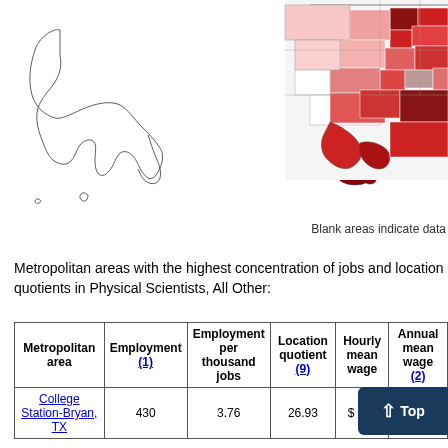[Figure (map): Choropleth map of the United States including Alaska and Hawaii insets, showing geographic concentration of Physical Scientists All Other employment by metropolitan area. Areas shaded in varying shades of red/pink indicating concentration levels. Right portion shows southeastern US with several dark red highlighted metro areas.]
Blank areas indicate data
Metropolitan areas with the highest concentration of jobs and location quotients in Physical Scientists, All Other:
| Metropolitan area | Employment (1) | Employment per thousand jobs | Location quotient (9) | Hourly mean wage | Annual mean wage (2) |
| --- | --- | --- | --- | --- | --- |
| College Station-Bryan, TX | 430 | 3.76 | 26.93 | $2... | ... |